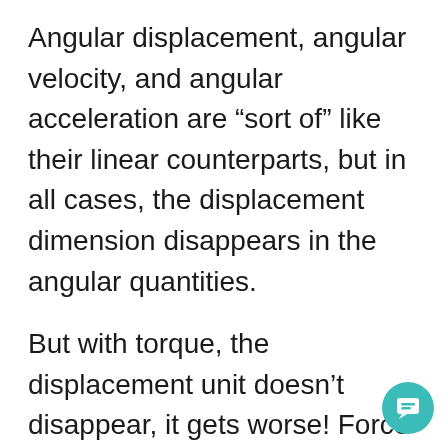Angular displacement, angular velocity, and angular acceleration are “sort of” like their linear counterparts, but in all cases, the displacement dimension disappears in the angular quantities.
But with torque, the displacement unit doesn’t disappear, it gets worse! Force is measured in newtons, kg m/s². Torque is measured in newton-meters, kg m²/s². There is a distance-squared in there, 292 versus a distance, not the no-distance at-all we’d expect from the analogy.